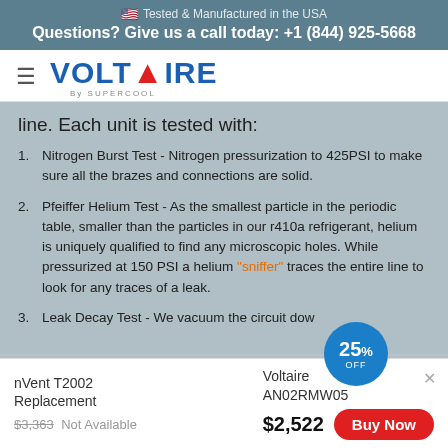Tested & Manufactured in the USA
Questions? Give us a call today: +1 (844) 925-5668
[Figure (logo): Voltaire by Supercool logo with hamburger menu icon]
line. Each unit is tested with:
Nitrogen Burst Test - Nitrogen pressurization to 425PSI to make sure all the brazes and connections are solid.
Pfeiffer Helium Test - As the smallest particle in the periodic table, smaller than the particles in our r410a refrigerant, helium is uniquely qualified to find any microscopic holes. While pressurized at 150 PSI a helium "sniffer" traces the entire line to look for any traces of a leak.
Leak Decay Test - We vacuum the circuit dow...nicrons
nVent T2002 Replacement
$3,363 Not Available
Voltaire AN02RMW05
$2,522
Buy Now